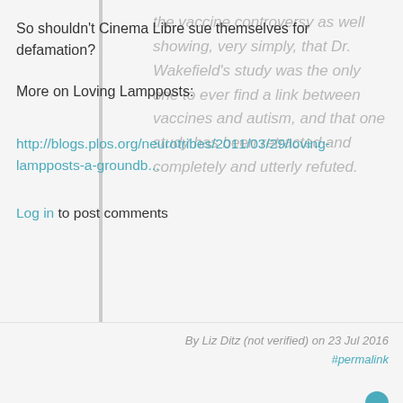the vaccine controversy as well showing, very simply, that Dr. Wakefield's study was the only one to ever find a link between vaccines and autism, and that one study has been retracted and completely and utterly refuted.
So shouldn't Cinema Libre sue themselves for defamation?
More on Loving Lampposts:
http://blogs.plos.org/neurotribes/2011/03/29/loving-lampposts-a-groundb...
Log in to post comments
By Liz Ditz (not verified) on 23 Jul 2016 #permalink